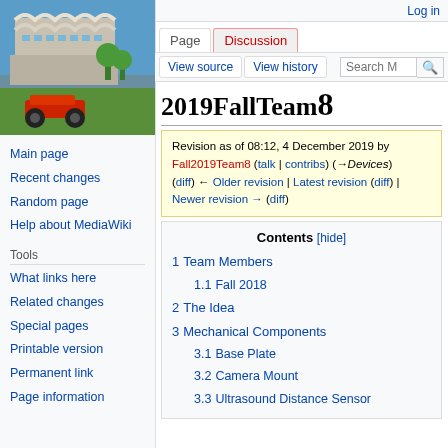Log in
[Figure (photo): Photo of a brutalist university library building with a remote-controlled car in the foreground on grass]
Main page
Recent changes
Random page
Help about MediaWiki
Tools
What links here
Related changes
Special pages
Printable version
Permanent link
Page information
2019Fall Team8
Revision as of 08:12, 4 December 2019 by Fall2019Team8 (talk | contribs) (→Devices)
(diff) ← Older revision | Latest revision (diff) | Newer revision → (diff)
Contents [hide]
1 Team Members
  1.1 Fall 2018
2 The Idea
3 Mechanical Components
  3.1 Base Plate
  3.2 Camera Mount
  3.3 Ultrasound Distance Sensor